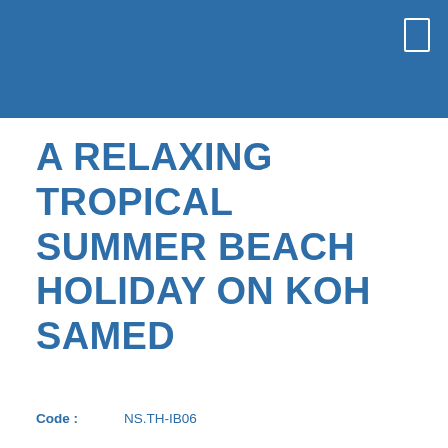A RELAXING TROPICAL SUMMER BEACH HOLIDAY ON KOH SAMED
Code :   NS.TH-IB06